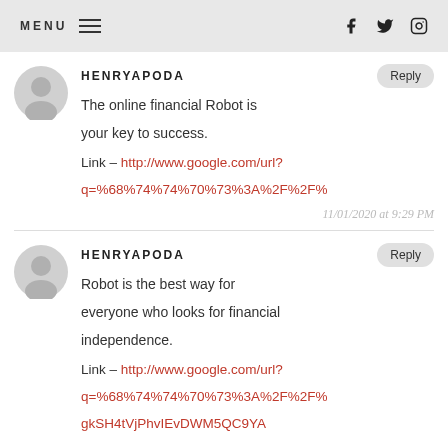MENU [hamburger icon] [facebook icon] [twitter icon] [instagram icon]
HENRYAPODA
The online financial Robot is your key to success.
Link – http://www.google.com/url?q=%68%74%74%70%73%3A%2F%2F%
11/01/2020 at 9:29 PM
HENRYAPODA
Robot is the best way for everyone who looks for financial independence.
Link – http://www.google.com/url?q=%68%74%74%70%73%3A%2F%2F%
gkSH4tVjPhvIEvDWM5QC9YA